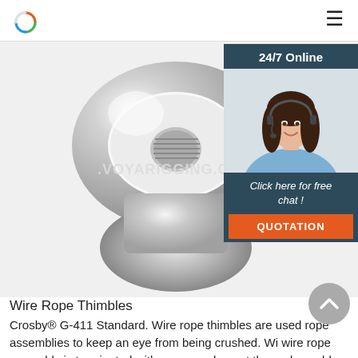VOYARIGGING.C (logo and hamburger menu)
[Figure (photo): Close-up photo of a galvanized steel wire rope thimble (eye bolt / ring nut) showing the threaded central hole and the large oval eye loop, on a white background. Watermark text '.VOYARIGGING.C' visible across the middle.]
[Figure (photo): Chat widget overlay: '24/7 Online' header on dark teal background, photo of smiling female customer service agent with headset, 'Click here for free chat!' text and orange 'QUOTATION' button.]
Wire Rope Thimbles
Crosby® G-411 Standard. Wire rope thimbles are used rope assemblies to keep an eye from being crushed. Wi wire rope assembly is terminated with an eye or loop at the end, a cable thimble is inserted to form the eye of the loop before the rope is secured. Steel thimbles (or stainless steel